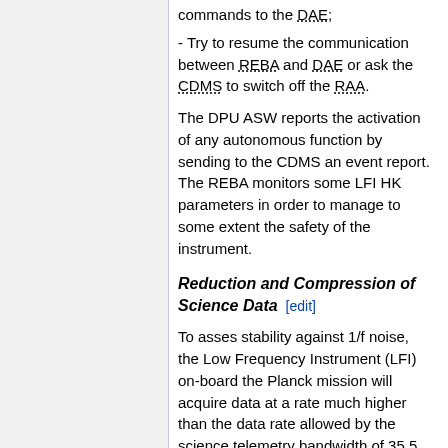commands to the DAE;
- Try to resume the communication between REBA and DAE or ask the CDMS to switch off the RAA.
The DPU ASW reports the activation of any autonomous function by sending to the CDMS an event report. The REBA monitors some LFI HK parameters in order to manage to some extent the safety of the instrument.
Reduction and Compression of Science Data [edit]
To asses stability against 1/f noise, the Low Frequency Instrument (LFI) on-board the Planck mission will acquire data at a rate much higher than the data rate allowed by the science telemetry bandwidth of 35.5 kbps. The data are processed by an on-board pipeline,